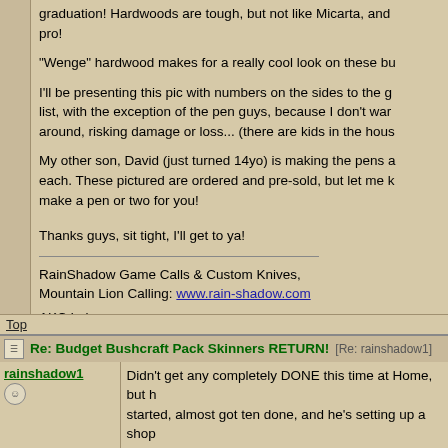graduation! Hardwoods are tough, but not like Micarta, and pro!
"Wenge" hardwood makes for a really cool look on these bu
I'll be presenting this pic with numbers on the sides to the g list, with the exception of the pen guys, because I don't war around, risking damage or loss... (there are kids in the hous
My other son, David (just turned 14yo) is making the pens a each. These pictured are ordered and pre-sold, but let me k make a pen or two for you!
Thanks guys, sit tight, I'll get to ya!
RainShadow Game Calls & Custom Knives,
Mountain Lion Calling: www.rain-shadow.com

AKC Labs
https://rainshadowlabradors.com
Top
Re: Budget Bushcraft Pack Skinners RETURN! [Re: rainshadow1]
rainshadow1
Didn't get any completely DONE this time at Home, but h started, almost got ten done, and he's setting up a shop